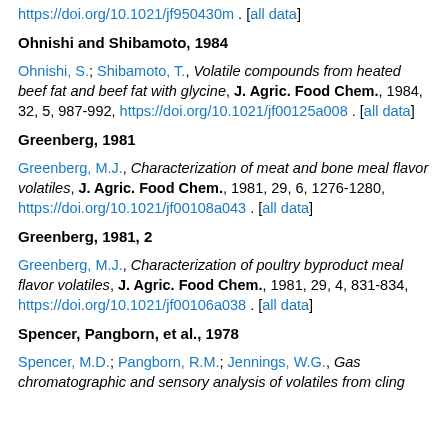https://doi.org/10.1021/jf950430m . [all data]
Ohnishi and Shibamoto, 1984
Ohnishi, S.; Shibamoto, T., Volatile compounds from heated beef fat and beef fat with glycine, J. Agric. Food Chem., 1984, 32, 5, 987-992, https://doi.org/10.1021/jf00125a008 . [all data]
Greenberg, 1981
Greenberg, M.J., Characterization of meat and bone meal flavor volatiles, J. Agric. Food Chem., 1981, 29, 6, 1276-1280, https://doi.org/10.1021/jf00108a043 . [all data]
Greenberg, 1981, 2
Greenberg, M.J., Characterization of poultry byproduct meal flavor volatiles, J. Agric. Food Chem., 1981, 29, 4, 831-834, https://doi.org/10.1021/jf00106a038 . [all data]
Spencer, Pangborn, et al., 1978
Spencer, M.D.; Pangborn, R.M.; Jennings, W.G., Gas chromatographic and sensory analysis of volatiles from cling